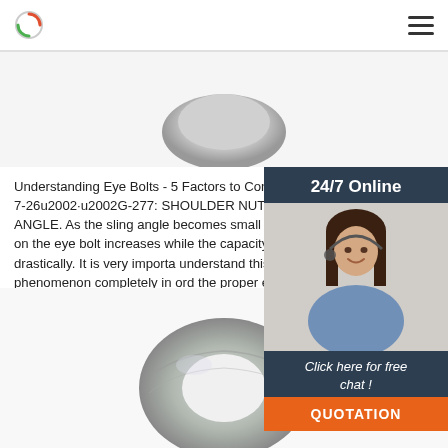Logo and navigation menu
[Figure (photo): Top view of a metal eyebolt head, partially visible at top of page]
Understanding Eye Bolts - 5 Factors to Consider 2017-7-26u2002·u2002G-277: SHOULDER NUT EYE SLING ANGLE. As the sling angle becomes small being placed on the eye bolt increases while the capacity diminishes drastically. It is very important to understand this phenomenon completely in order to the proper eye bolt to make their lift safely.
[Figure (photo): Customer service representative woman wearing headset, for 24/7 online chat widget]
24/7 Online
Click here for free chat !
QUOTATION
[Figure (other): Green 'Get Price' button]
[Figure (photo): Galvanized metal eye bolt ring viewed from above, showing the circular eye portion]